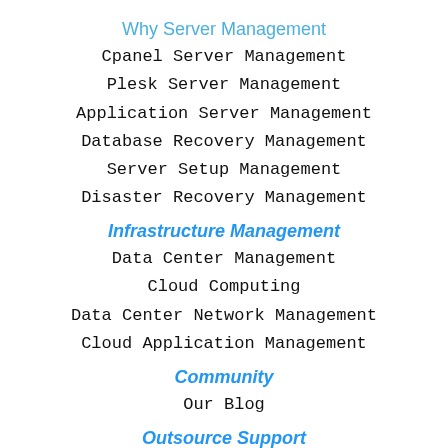Why Server Management
Cpanel Server Management
Plesk Server Management
Application Server Management
Database Recovery Management
Server Setup Management
Disaster Recovery Management
Infrastructure Management
Data Center Management
Cloud Computing
Data Center Network Management
Cloud Application Management
Community
Our Blog
Outsource Support